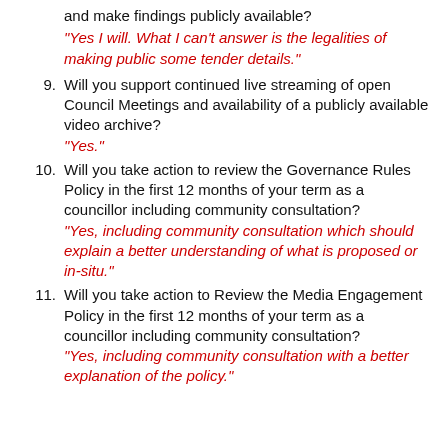and make findings publicly available?
"Yes I will. What I can't answer is the legalities of making public some tender details."
9. Will you support continued live streaming of open Council Meetings and availability of a publicly available video archive?
"Yes."
10. Will you take action to review the Governance Rules Policy in the first 12 months of your term as a councillor including community consultation?
"Yes, including community consultation which should explain a better understanding of what is proposed or in-situ."
11. Will you take action to Review the Media Engagement Policy in the first 12 months of your term as a councillor including community consultation?
"Yes, including community consultation with a better explanation of the policy."